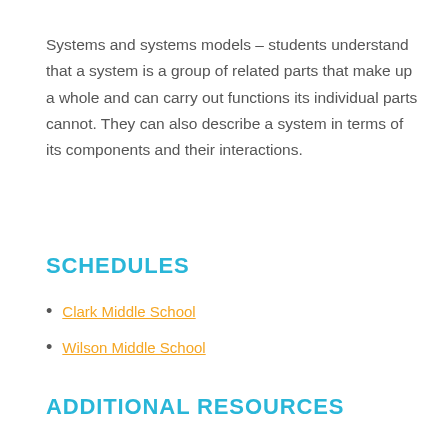Systems and systems models – students understand that a system is a group of related parts that make up a whole and can carry out functions its individual parts cannot. They can also describe a system in terms of its components and their interactions.
SCHEDULES
Clark Middle School
Wilson Middle School
ADDITIONAL RESOURCES